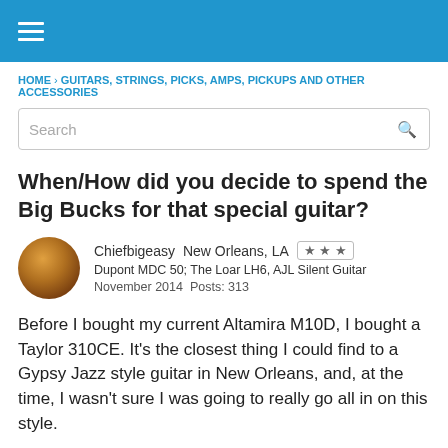≡ (hamburger menu)
HOME › GUITARS, STRINGS, PICKS, AMPS, PICKUPS AND OTHER ACCESSORIES
Search
When/How did you decide to spend the Big Bucks for that special guitar?
Chiefbigeasy   New Orleans, LA   ★★★
Dupont MDC 50; The Loar LH6, AJL Silent Guitar
November 2014   Posts: 313
Before I bought my current Altamira M10D, I bought a Taylor 310CE. It's the closest thing I could find to a Gypsy Jazz style guitar in New Orleans, and, at the time, I wasn't sure I was going to really go all in on this style.